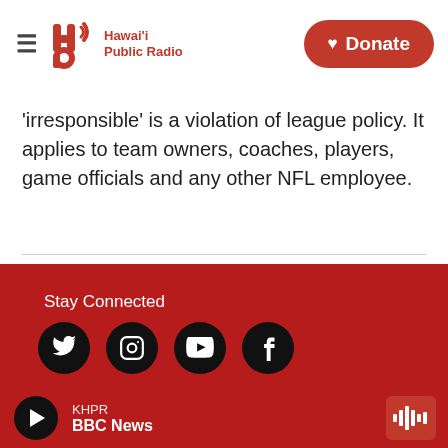Hawai'i Public Radio — Donate
'irresponsible' is a violation of league policy. It applies to team owners, coaches, players, game officials and any other NFL employee.
[Figure (logo): Hawai'i Public Radio logo with navigation and Donate button]
Stay Connected
Home
HPR-1 Schedule
HPR-2 Schedule
KHPR BBC News — player bar